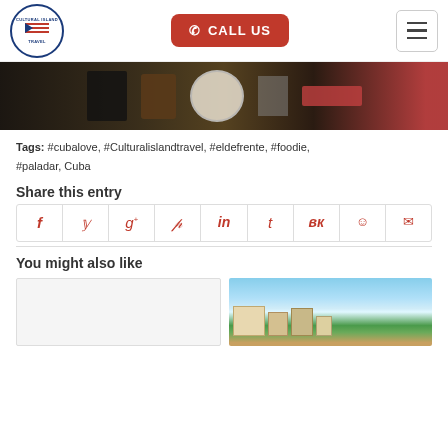Cultural Island Travel - Call Us
[Figure (photo): Restaurant table with dishes, plates and food items, dark background]
Tags: #cubalove, #Culturalislandtravel, #eldefrente, #foodie, #paladar, Cuba
Share this entry
[Figure (infographic): Social share icons row: Facebook, Twitter, Google+, Pinterest, LinkedIn, Tumblr, VK, Reddit, Email]
You might also like
[Figure (photo): Two thumbnail images for related blog posts: a blank card and a photo of buildings with blue sky]